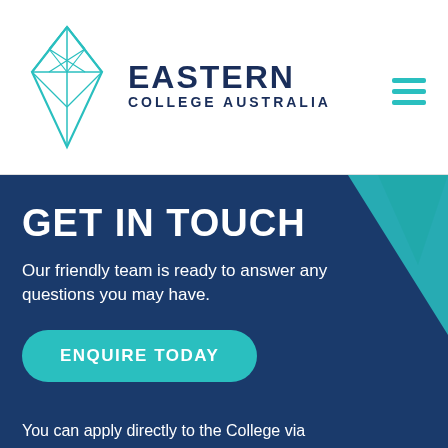[Figure (logo): Eastern College Australia logo — teal geometric diamond/kite shape with internal lines on the left, and bold dark navy text 'EASTERN COLLEGE AUSTRALIA' on the right]
GET IN TOUCH
Our friendly team is ready to answer any questions you may have.
ENQUIRE TODAY
You can apply directly to the College via